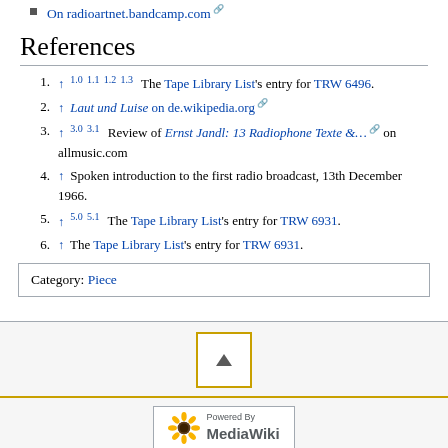On radioartnet.bandcamp.com [external link]
References
1. ↑ 1.0 1.1 1.2 1.3 The Tape Library List's entry for TRW 6496.
2. ↑ Laut und Luise on de.wikipedia.org [external link]
3. ↑ 3.0 3.1 Review of Ernst Jandl: 13 Radiophone Texte &… [external link] on allmusic.com
4. ↑ Spoken introduction to the first radio broadcast, 13th December 1966.
5. ↑ 5.0 5.1 The Tape Library List's entry for TRW 6931.
6. ↑ The Tape Library List's entry for TRW 6931.
Category: Piece
Privacy policy · About WikiDelia · Disclaimers